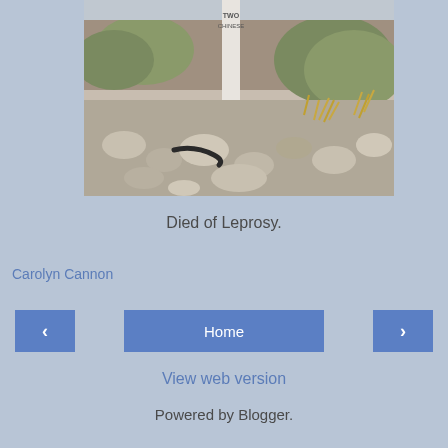[Figure (photo): Photograph of a rocky desert grave site with a white wooden cross marker partially visible at top. The marker has text reading 'TWO CHINESE'. Dry scrub brush and rocks surround the grave.]
Died of Leprosy.
Carolyn Cannon
‹
Home
›
View web version
Powered by Blogger.